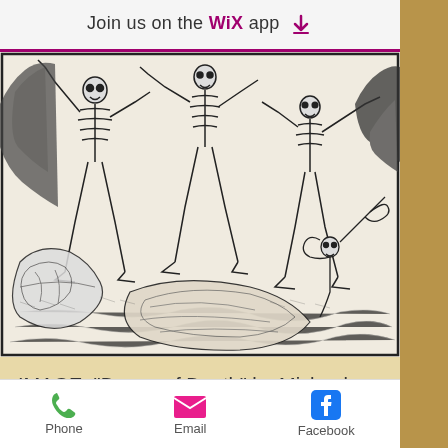Join us on the WiX app ⬇
[Figure (illustration): Medieval woodcut illustration 'Dance of Death' by Michael Wolgemut showing skeletons in motion]
IMAGE: "Dance of Death" by Michael Wolgemut, from the Liber chronicarium - Hartmann Schedel, from Wikipedia.
Hans Holbein the Younger, thanks to
Phone    Email    Facebook